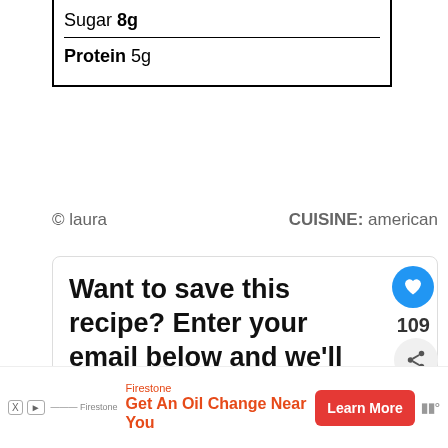| Sugar | 8g |
| Protein | 5g |
© laura           CUISINE: american
Want to save this recipe? Enter your email below and we'll send the recipe straight to your inbox!
109
Get updates on the latest posts and from Cheeky Kitchen straight to your inbox
WHAT'S NEXT → MOM'S BEST Taco Salad
Firestone Get An Oil Change Near You  Learn More